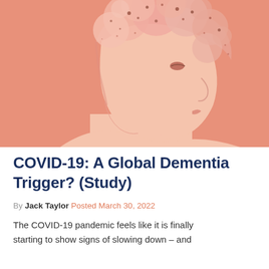[Figure (illustration): An artistic illustration of a woman's head in profile view with an orange/salmon color palette. The top of her head dissolves into a cloud-like brain structure with orange and pink particles, suggesting cognitive/neurological themes. The figure faces right against an orange background.]
COVID-19: A Global Dementia Trigger? (Study)
By Jack Taylor Posted March 30, 2022
The COVID-19 pandemic feels like it is finally starting to show signs of slowing down – and